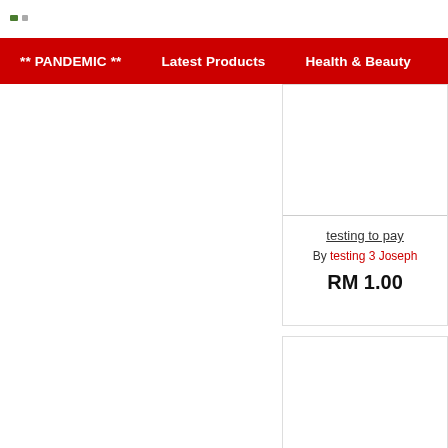** PANDEMIC **   Latest Products   Health & Beauty   Food & B...
testing to pay
By testing 3 Joseph
RM 1.00
BANNER